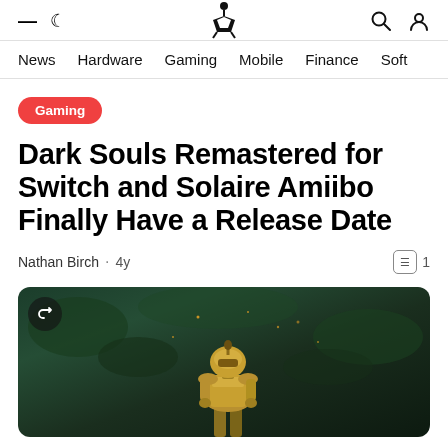Navigation header with hamburger menu, moon icon, site logo, search and profile icons
News · Hardware · Gaming · Mobile · Finance · Soft...
Gaming
Dark Souls Remastered for Switch and Solaire Amiibo Finally Have a Release Date
Nathan Birch · 4y  [comment icon] 1
[Figure (photo): Dark Souls Remastered screenshot showing a knight character in golden armor standing in a dark, overgrown ruined environment]